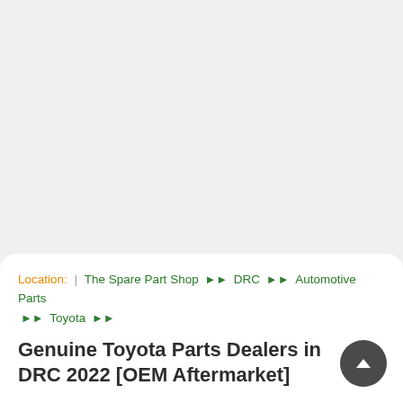Location: | The Spare Part Shop ▶▶ DRC ▶▶ Automotive Parts ▶▶ Toyota ▶▶
Genuine Toyota Parts Dealers in DRC 2022 [OEM Aftermarket]